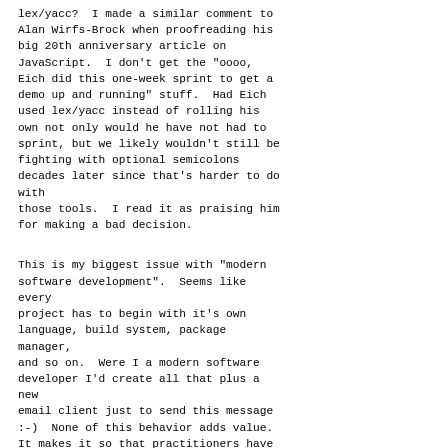lex/yacc?  I made a similar comment to Alan Wirfs-Brock when proofreading his big 20th anniversary article on JavaScript.  I don't get the "oooo, Eich did this one-week sprint to get a demo up and running" stuff.  Had Eich used lex/yacc instead of rolling his own not only would he have not had to sprint, but we likely wouldn't still be fighting with optional semicolons decades later since that's harder to do with
those tools.  I read it as praising him for making a bad decision.
This is my biggest issue with "modern software development".  Seems like every
project has to begin with it's own language, build system, package manager,
and so on.  Were I a modern software developer I'd create all that plus a new
email client just to send this message :-)  None of this behavior adds value. It makes it so that practitioners have to learn many arcane incompatible systems that all do pretty much the same thing.